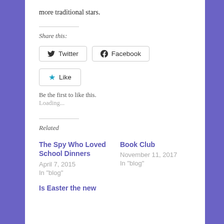more traditional stars.
Share this:
[Figure (other): Twitter and Facebook social share buttons, followed by a Like button with a star icon]
Be the first to like this.
Loading...
Related
The Spy Who Loved School Dinners
April 7, 2015
In "blog"
Book Club
November 11, 2017
In "blog"
Is Easter the new